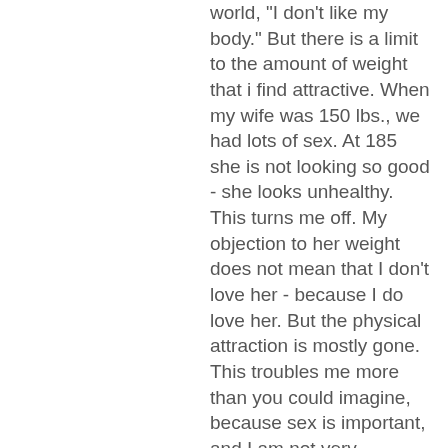world, "I don't like my body." But there is a limit to the amount of weight that i find attractive. When my wife was 150 lbs., we had lots of sex. At 185 she is not looking so good - she looks unhealthy. This turns me off. My objection to her weight does not mean that I don't love her - because I do love her. But the physical attraction is mostly gone. This troubles me more than you could imagine, because sex is important, and I am not very motivated to have sex with her at 185. I feel that she doesn't give a damn about her weight, because